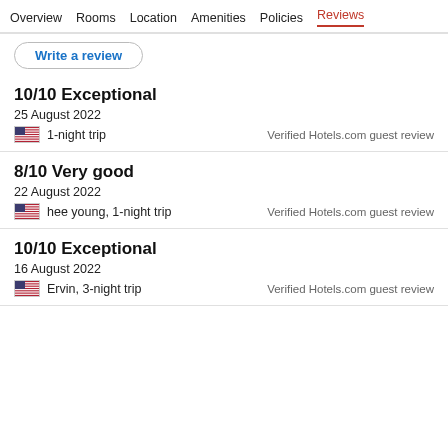Overview   Rooms   Location   Amenities   Policies   Reviews
Write a review
10/10 Exceptional
25 August 2022
1-night trip
Verified Hotels.com guest review
8/10 Very good
22 August 2022
hee young, 1-night trip
Verified Hotels.com guest review
10/10 Exceptional
16 August 2022
Ervin, 3-night trip
Verified Hotels.com guest review